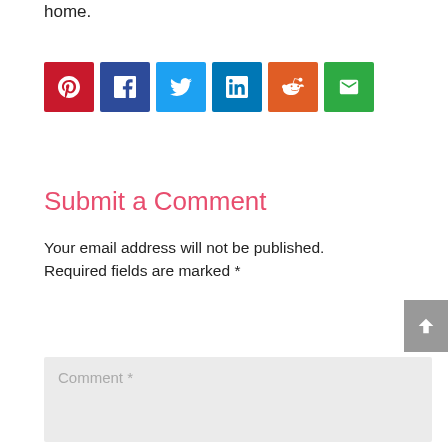home.
[Figure (infographic): Row of 6 social sharing icon buttons: Pinterest (dark red), Facebook (dark blue), Twitter (light blue), LinkedIn (dark blue), Reddit (orange), Email (green)]
Submit a Comment
Your email address will not be published. Required fields are marked *
Comment *